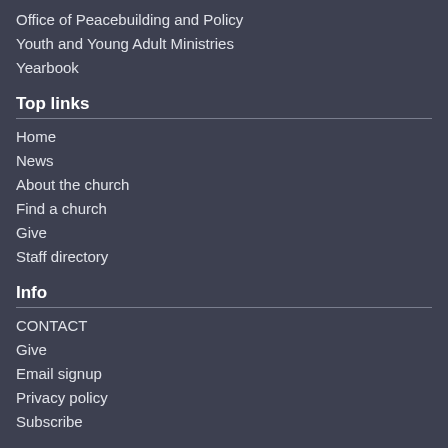Office of Peacebuilding and Policy
Youth and Young Adult Ministries
Yearbook
Top links
Home
News
About the church
Find a church
Give
Staff directory
Info
CONTACT
Give
Email signup
Privacy policy
Subscribe